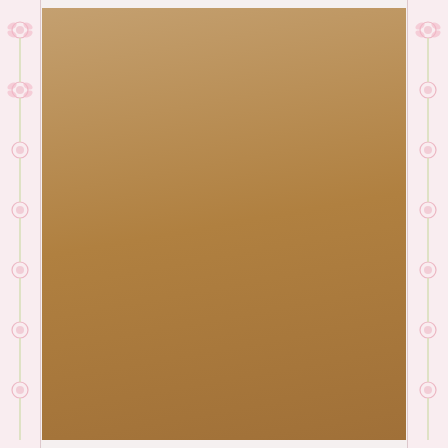[Figure (photo): Photograph of a cardboard box of Readi-Board Black Foam Board, 20 inch by 30 inch, box quantity 25. The box label reads: top band '20" x 30" FOAM BOARD', star badge 'Great for Chalk!', brand logo 'Readi-Board FOAM BOARD', color 'BLACK', uses list 'WEDDINGS • GRADUATIONS • ANNIVERSARIES • PRESENTATIONS • SCHOOL • OFFICE • PARTIES •', bottom band 'BOX QUANTITY: 25' and '20" x 30" FOAM BOARD'. Watermark 'Craftibilities.com' visible. Box sits on a wooden surface with floral border decoration on sides.]